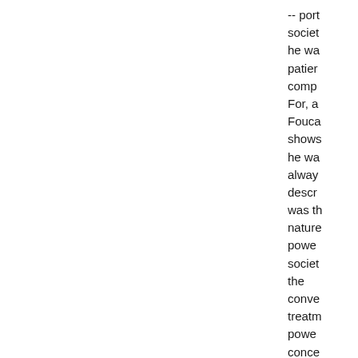-- port society he wa patien comp For, a Fouca shows he wa alway descr was th nature power societ the conve treatm power conce on po indivi and